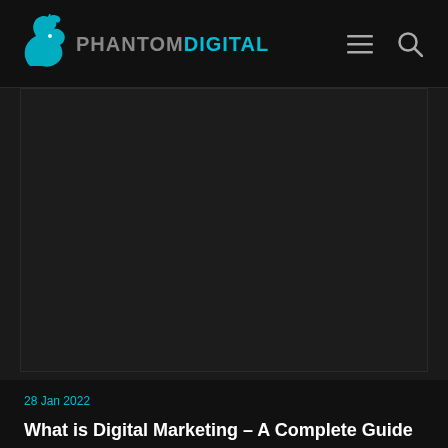PHANTOMDIGITAL
[Figure (photo): Dark hero image area — large dark/black rectangular placeholder image region]
28 Jan 2022
What is Digital Marketing – A Complete Guide